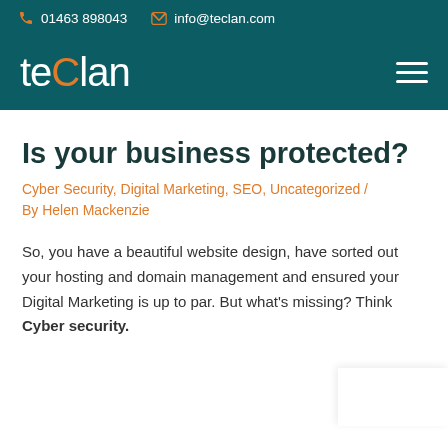📞 01463 898043  ✉ info@teclan.com
[Figure (logo): Teclan logo — white text with orange 'C' letter, on dark teal background, with hamburger menu icon on right]
Is your business protected?
Cyber Security, Digital Marketing, SEO, Uncategorized / By Helen Mackenzie
So, you have a beautiful website design, have sorted out your hosting and domain management and ensured your Digital Marketing is up to par. But what's missing? Think Cyber security.